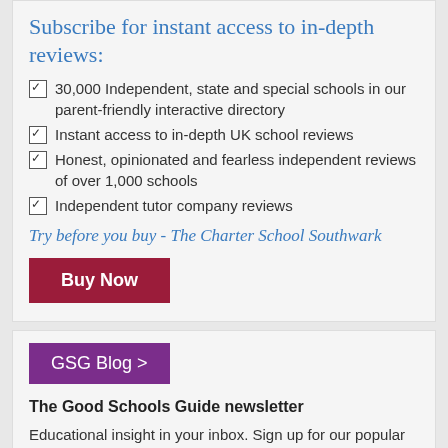Subscribe for instant access to in-depth reviews:
30,000 Independent, state and special schools in our parent-friendly interactive directory
Instant access to in-depth UK school reviews
Honest, opinionated and fearless independent reviews of over 1,000 schools
Independent tutor company reviews
Try before you buy - The Charter School Southwark
Buy Now
GSG Blog >
The Good Schools Guide newsletter
Educational insight in your inbox. Sign up for our popular newsletters.
Fill in your email address...